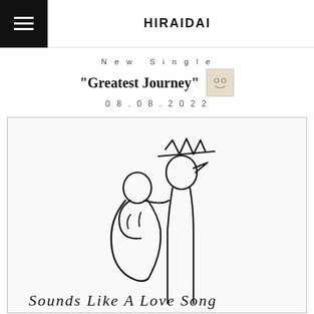HIRAIDAI
New Single "Greatest Journey" 08.08.2022
[Figure (illustration): Album artwork for 'Sounds Like A Love Song' — a minimalist line drawing of two figures embracing, one wearing a crown, on white background. Hand-lettered text at bottom reads 'Sounds Like A Love Song']